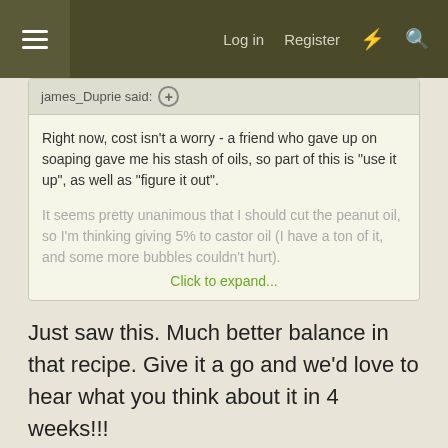Log in  Register
james_Duprie said:
Right now, cost isn't a worry - a friend who gave up on soaping gave me his stash of oils, so part of this is "use it up", as well as "figure it out".

It seems pretty unanimous that I should cut the peanut oil, so I'm thinking giving 5% to castor oil (I have a ton of it, and some more bubbles couldn't hurt).
Click to expand...
Just saw this. Much better balance in that recipe. Give it a go and we'd love to hear what you think about it in 4 weeks!!!
Reply
toxikon